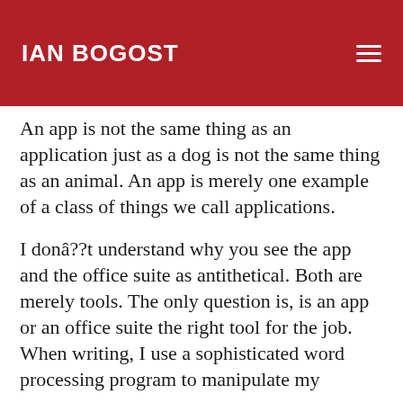IAN BOGOST
An app is not the same thing as an application just as a dog is not the same thing as an animal. An app is merely one example of a class of things we call applications.
I donâ??t understand why you see the app and the office suite as antithetical. Both are merely tools. The only question is, is an app or an office suite the right tool for the job. When writing, I use a sophisticated word processing program to manipulate my